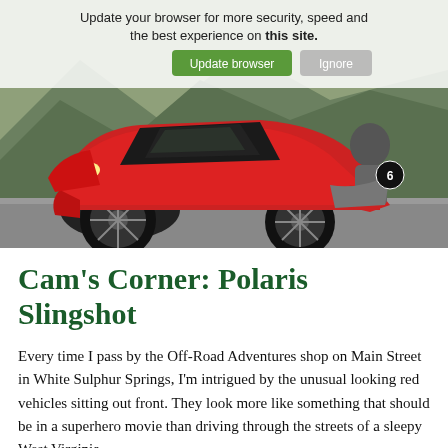[Figure (photo): Photo of a red Polaris Slingshot three-wheeled vehicle on a road with mountains in background; a person is seated in the vehicle. A browser update banner overlays the top portion of the image with text and buttons.]
Cam's Corner: Polaris Slingshot
Every time I pass by the Off-Road Adventures shop on Main Street in White Sulphur Springs, I'm intrigued by the unusual looking red vehicles sitting out front. They look more like something that should be in a superhero movie than driving through the streets of a sleepy West Virginia